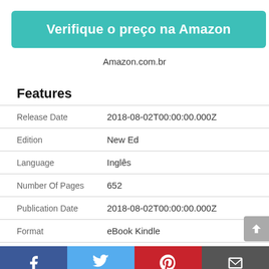[Figure (other): Teal button with text 'Verifique o preço na Amazon']
Amazon.com.br
Features
| Release Date | 2018-08-02T00:00:00.000Z |
| Edition | New Ed |
| Language | Inglês |
| Number Of Pages | 652 |
| Publication Date | 2018-08-02T00:00:00.000Z |
| Format | eBook Kindle |
Facebook | Twitter | Pinterest | Email